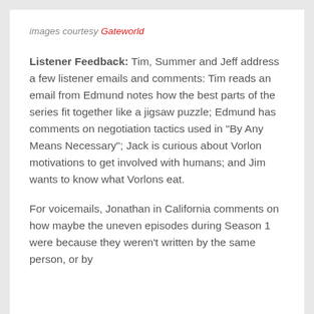images courtesy Gateworld
Listener Feedback: Tim, Summer and Jeff address a few listener emails and comments: Tim reads an email from Edmund notes how the best parts of the series fit together like a jigsaw puzzle; Edmund has comments on negotiation tactics used in "By Any Means Necessary"; Jack is curious about Vorlon motivations to get involved with humans; and Jim wants to know what Vorlons eat.
For voicemails, Jonathan in California comments on how maybe the uneven episodes during Season 1 were because they weren't written by the same person, or by